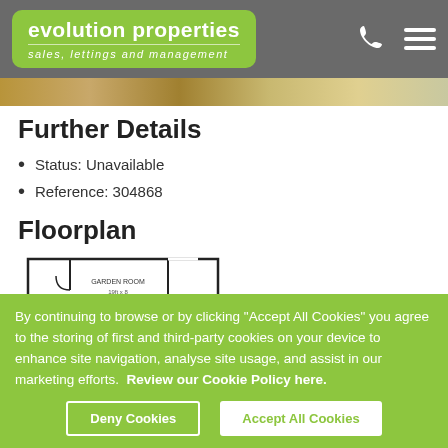evolution properties — sales, lettings and management
[Figure (photo): Photo strip showing interior property images]
Further Details
Status: Unavailable
Reference: 304868
Floorplan
[Figure (schematic): Partial floorplan showing Garden Room layout]
By continuing to browse or by clicking "Accept All Cookies" you agree to the storing of first and third-party cookies on your device to enhance site navigation, analyse site usage, and assist in our marketing efforts. Review our Cookie Policy here.